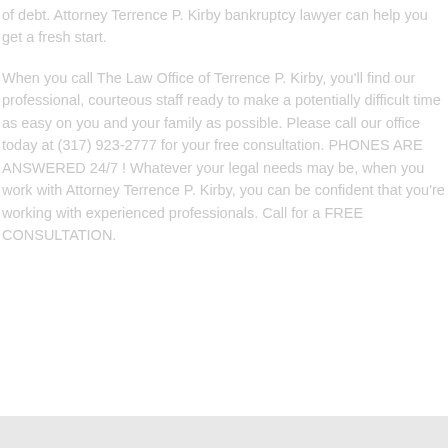of debt. Attorney Terrence P. Kirby bankruptcy lawyer can help you get a fresh start.
When you call The Law Office of Terrence P. Kirby, you'll find our professional, courteous staff ready to make a potentially difficult time as easy on you and your family as possible. Please call our office today at (317) 923-2777 for your free consultation. PHONES ARE ANSWERED 24/7 ! Whatever your legal needs may be, when you work with Attorney Terrence P. Kirby, you can be confident that you're working with experienced professionals. Call for a FREE CONSULTATION.